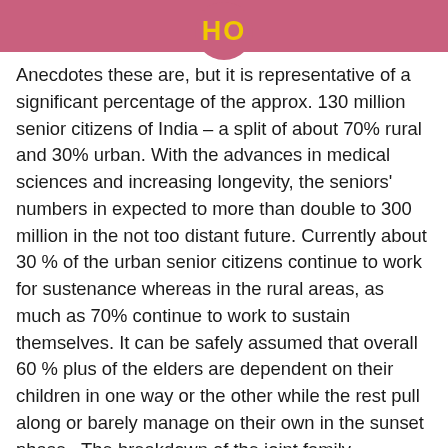HO
Anecdotes these are, but it is representative of a significant percentage of the approx. 130 million senior citizens of India – a split of about 70% rural and 30% urban. With the advances in medical sciences and increasing longevity, the seniors' numbers in expected to more than double to 300 million in the not too distant future. Currently about 30 % of the urban senior citizens continue to work for sustenance whereas in the rural areas, as much as 70% continue to work to sustain themselves. It can be safely assumed that overall 60 % plus of the elders are dependent on their children in one way or the other while the rest pull along or barely manage on their own in the sunset phase. The breakdown of the joint family, particularly in urban areas is an aggravation for the elders while the rural elders still have some solace of it. Several cases have been reported of elders' abandonment, ill treatment, destitution, etc. The few outlier exceptions of elder